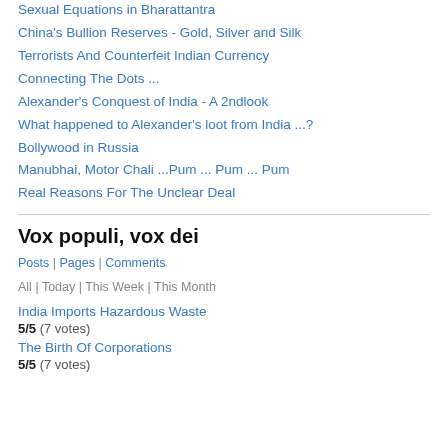Sexual Equations in Bharattantra
China's Bullion Reserves - Gold, Silver and Silk
Terrorists And Counterfeit Indian Currency
Connecting The Dots ...
Alexander's Conquest of India - A 2ndlook
What happened to Alexander's loot from India ...?
Bollywood in Russia
Manubhai, Motor Chali ...Pum ... Pum ... Pum
Real Reasons For The Unclear Deal
Vox populi, vox dei
Posts | Pages | Comments
All | Today | This Week | This Month
India Imports Hazardous Waste
5/5 (7 votes)
The Birth Of Corporations
5/5 (7 votes)